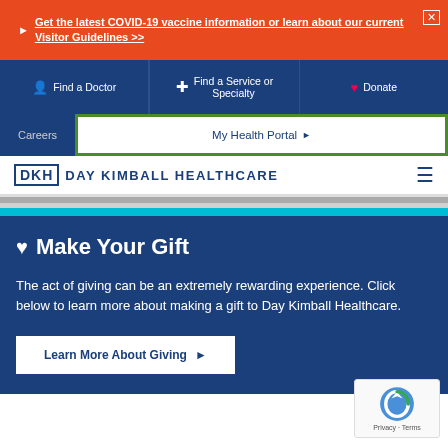Get the latest COVID-19 vaccine information or learn about our current Visitor Guidelines >>
Find a Doctor
Find a Service or Specialty
Donate
Careers
My Health Portal ▶
[Figure (logo): DKH Day Kimball Healthcare logo with blue box and text]
♥ Make Your Gift
The act of giving can be an extremely rewarding experience. Click below to learn more about making a gift to Day Kimball Healthcare.
Learn More About Giving ▶